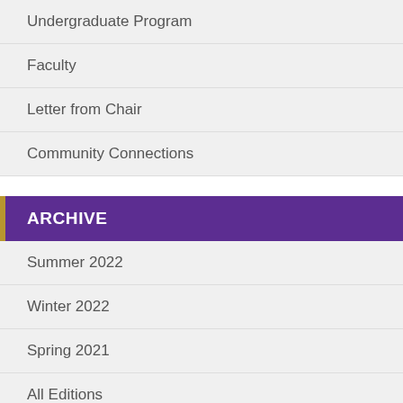Undergraduate Program
Faculty
Letter from Chair
Community Connections
ARCHIVE
Summer 2022
Winter 2022
Spring 2021
All Editions